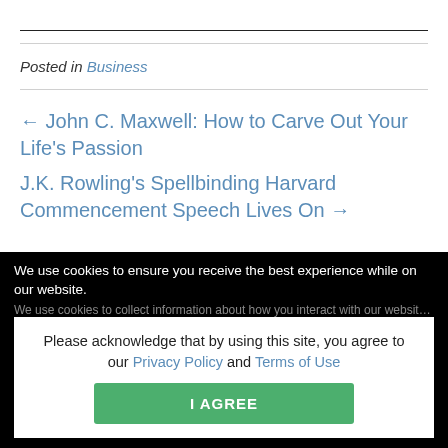Posted in Business
← John C. Maxwell: How to Carve Out Your Life's Passion
J.K. Rowling's Spellbinding Harvard Commencement Speech Lives On →
Leave a Comment
We use cookies to ensure you receive the best experience while on our website.
Please acknowledge that by using this site, you agree to our Privacy Policy and Terms of Use
I AGREE